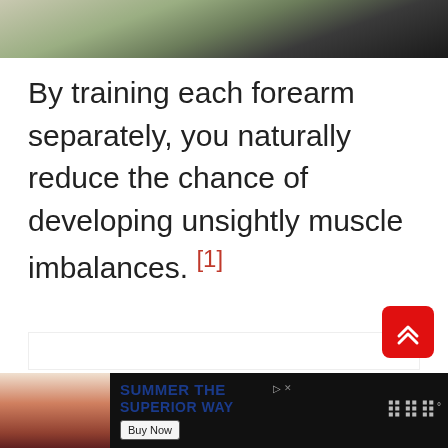[Figure (photo): Top portion of a photograph showing a person from shoulders/neck area, with green/beige background, cropped at top of page]
By training each forearm separately, you naturally reduce the chance of developing unsightly muscle imbalances. [1]
[Figure (screenshot): Advertisement banner at bottom of page: dark background with image on left showing people at a bar/restaurant setting, text in center reading 'SUMMER THE SUPERIOR WAY' with a 'Buy Now' button, and a media player logo on the right]
[Figure (other): Red scroll-to-top button with double chevron/arrow icon pointing upward]